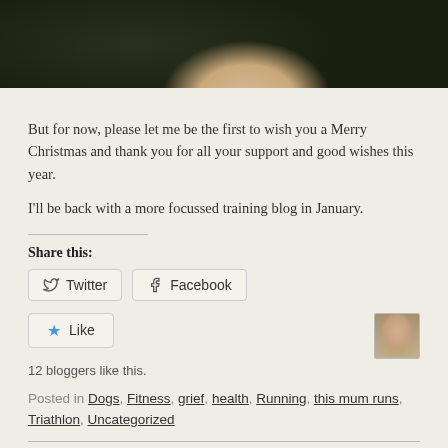[Figure (photo): Cropped top portion showing a person smiling, wearing a dark jacket, against a grassy background]
But for now, please let me be the first to wish you a Merry Christmas and thank you for all your support and good wishes this year.
I'll be back with a more focussed training blog in January.
Share this:
Twitter  Facebook
Like
12 bloggers like this.
Posted in Dogs, Fitness, grief, health, Running, this mum runs, Triathlon, Uncategorized